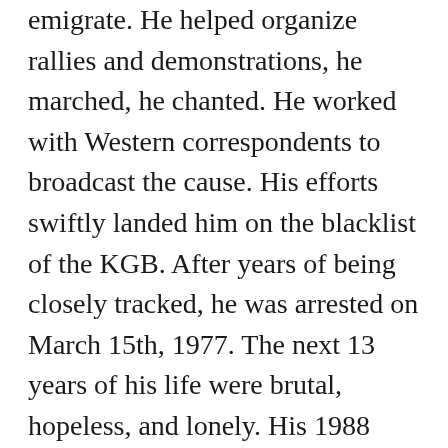emigrate. He helped organize rallies and demonstrations, he marched, he chanted. He worked with Western correspondents to broadcast the cause. His efforts swiftly landed him on the blacklist of the KGB. After years of being closely tracked, he was arrested on March 15th, 1977. The next 13 years of his life were brutal, hopeless, and lonely. His 1988 memoir, Fear No Evil, illustrates his experiences and his metamorphosis as a Russian Jew and as an individual fighting for his freedom.